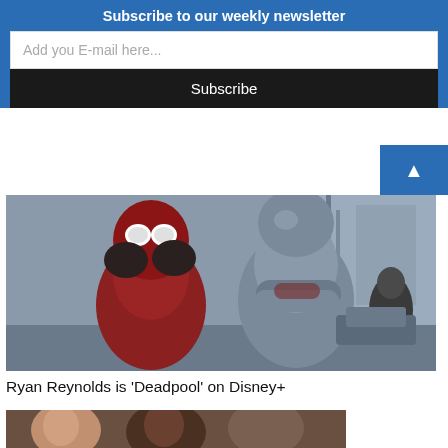Subscribe to our weekly newsletter
Add you E-mail here...
Subscribe
[Figure (photo): Scene from Deadpool movie showing Deadpool in red suit with hands on face, Colossus in metal armor with arms crossed, and a third character in the background, industrial setting]
Ryan Reynolds is ‘Deadpool’ on Disney+
[Figure (photo): Partial view of another movie scene at the bottom of the page, showing people's faces]